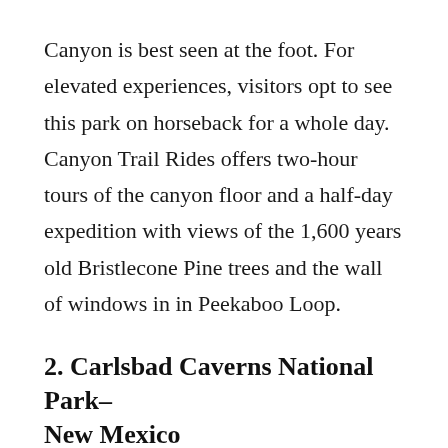Canyon is best seen at the foot. For elevated experiences, visitors opt to see this park on horseback for a whole day. Canyon Trail Rides offers two-hour tours of the canyon floor and a half-day expedition with views of the 1,600 years old Bristlecone Pine trees and the wall of windows in in Peekaboo Loop.
2. Carlsbad Caverns National Park– New Mexico
Situated in Guadalupe Mountains of the South Eastern parts of New Mexico, far from any city lights, Carlsbad Caverns National Park is among the greatest places to view the night sky in a new way. This park offers full star and moon party tours to take place in the natural